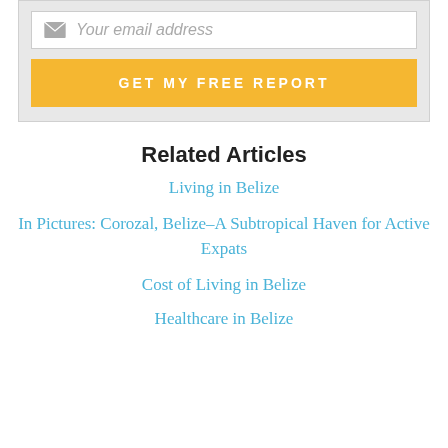[Figure (screenshot): Email signup input field with envelope icon and placeholder text 'Your email address' on grey background]
GET MY FREE REPORT
Related Articles
Living in Belize
In Pictures: Corozal, Belize–A Subtropical Haven for Active Expats
Cost of Living in Belize
Healthcare in Belize